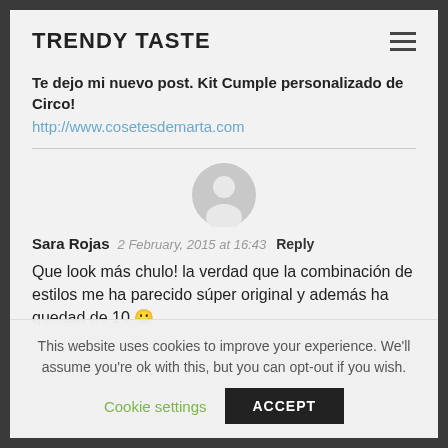TRENDY TASTE
Te dejo mi nuevo post. Kit Cumple personalizado de Circo!
http://www.cosetesdemarta.com
[Figure (illustration): Generic user avatar circle icon in gray]
Sara Rojas  2 February, 2015 at 16:43  Reply
Que look más chulo! la verdad que la combinación de estilos me ha parecido súper original y además ha quedad de 10 😀
This website uses cookies to improve your experience. We'll assume you're ok with this, but you can opt-out if you wish.
Cookie settings  ACCEPT